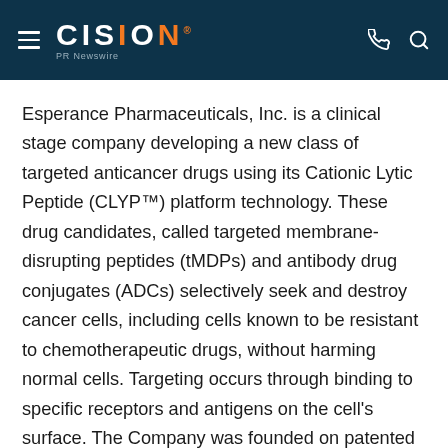CISION PR Newswire
Esperance Pharmaceuticals, Inc. is a clinical stage company developing a new class of targeted anticancer drugs using its Cationic Lytic Peptide (CLYP™) platform technology. These drug candidates, called targeted membrane-disrupting peptides (tMDPs) and antibody drug conjugates (ADCs) selectively seek and destroy cancer cells, including cells known to be resistant to chemotherapeutic drugs, without harming normal cells. Targeting occurs through binding to specific receptors and antigens on the cell's surface. The Company was founded on patented technology discovered by scientists at the Pennington Biomedical Research